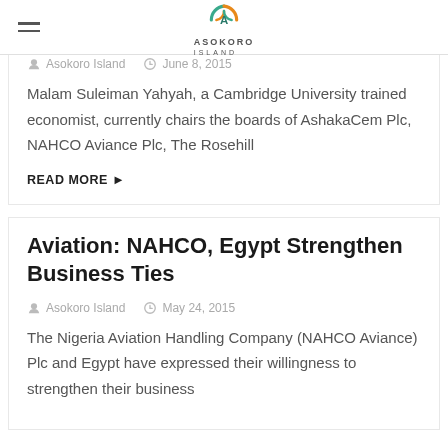ASOKORO ISLAND
Asokoro Island   June 8, 2015
Malam Suleiman Yahyah, a Cambridge University trained economist, currently chairs the boards of AshakaCem Plc, NAHCO Aviance Plc, The Rosehill
READ MORE ▶
Aviation: NAHCO, Egypt Strengthen Business Ties
Asokoro Island   May 24, 2015
The Nigeria Aviation Handling Company (NAHCO Aviance) Plc and Egypt have expressed their willingness to strengthen their business